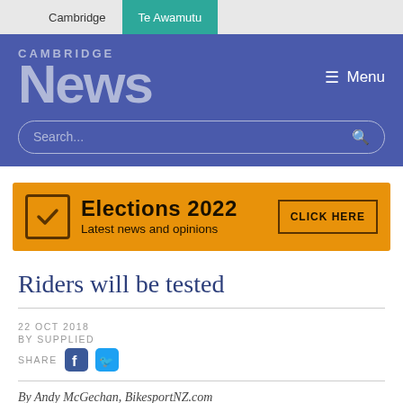Cambridge | Te Awamutu
CAMBRIDGE News
[Figure (screenshot): Cambridge News website header with blue background, logo, menu button, and search bar]
[Figure (infographic): Elections 2022 advertisement banner in orange. Text: Elections 2022 Latest news and opinions. Button: CLICK HERE]
Riders will be tested
22 OCT 2018
BY SUPPLIED
SHARE
By Andy McGechan, BikesportNZ.com